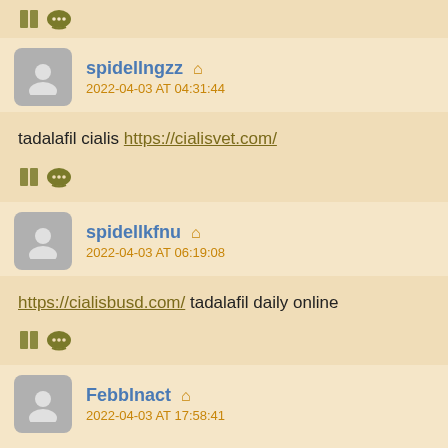🪟 💬 (partial top comment footer)
spidellngzz 🏠
2022-04-03 AT 04:31:44
tadalafil cialis https://cialisvet.com/
🪟 💬
spidellkfnu 🏠
2022-04-03 AT 06:19:08
https://cialisbusd.com/ tadalafil daily online
🪟 💬
Febblnact 🏠
2022-04-03 AT 17:58:41